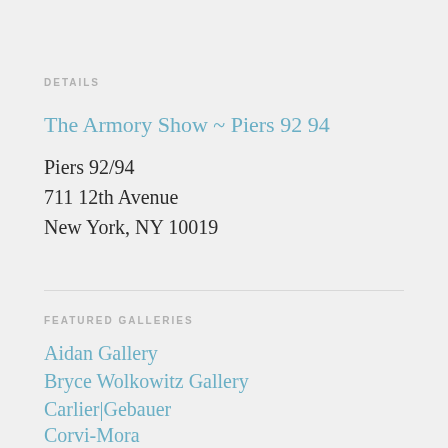DETAILS
The Armory Show ~ Piers 92 94
Piers 92/94
711 12th Avenue
New York, NY 10019
FEATURED GALLERIES
Aidan Gallery
Bryce Wolkowitz Gallery
Carlier|Gebauer
Corvi-Mora
Galeria SENDA
Galeria Múltiple